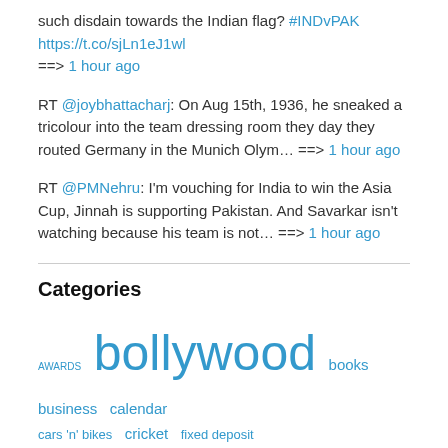such disdain towards the Indian flag? #INDvPAK https://t.co/sjLn1eJ1wl ==> 1 hour ago
RT @joybhattacharj: On Aug 15th, 1936, he sneaked a tricolour into the team dressing room they day they routed Germany in the Munich Olym… ==> 1 hour ago
RT @PMNehru: I'm vouching for India to win the Asia Cup, Jinnah is supporting Pakistan. And Savarkar isn't watching because his team is not… ==> 1 hour ago
Categories
AWARDS bollywood books business calendar cars 'n' bikes cricket fixed deposit general hollywood humor indian politics insurance ipl lifestyle literature lyrics